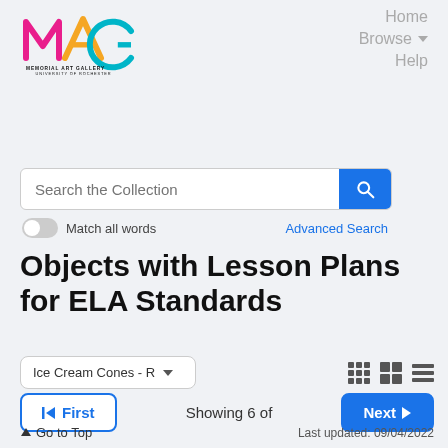[Figure (logo): Memorial Art Gallery (MAG) logo with stylized M in pink, A in orange, G in teal, subtitle 'MEMORIAL ART GALLERY UNIVERSITY OF ROCHESTER']
Home
Browse ▾
Help
Search the Collection
Match all words   Advanced Search
Objects with Lesson Plans for ELA Standards
Ice Cream Cones - R ▾
⏮ First   Showing 6 of   Next ▶
⬆ Go to Top   Last updated: 09/04/2022